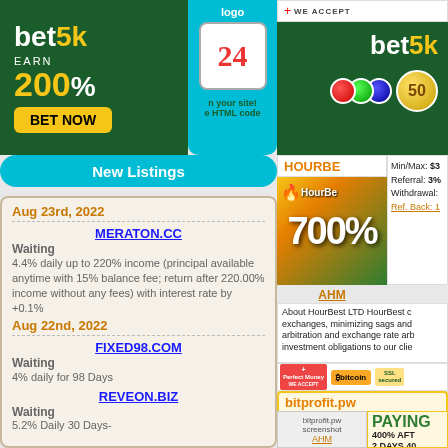[Figure (logo): bet5k banner: dark green background, 'bet5k' logo, 'EARN 200%', yellow 'BET NOW' button]
[Figure (logo): Logo area with cyan background, magnifier with number 24, HTML code text]
New Listings
Aug 23rd, 2022
MERATON.CC
Waiting
4.4% daily up to 220% income (principal available anytime with 15% balance fee; return after 220.00% income without any fees) with interest rate by +0.1%
Aug 22nd, 2022
FIXED98.COM
Waiting
4% daily for 98 Days
REVEON.BIZ
Waiting
5.2% Daily 30 Days-
[Figure (logo): bet5k logo top right on dark green background with colorful coins showing '50']
[Figure (logo): HourBest banner showing 700% with investment background image]
Min/Max: $3
Referral: 3%
Withdrawal:
Ref. Back: 1
AHM
About HourBest LTD HourBest c exchanges, minimizing sags and arbitration and exchange rate arb investment obligations to our clie
[Figure (logo): Payment method badges: Perfect Money, Bitcoin, SSL secured]
bitprofit.pw
[Figure (screenshot): bitprofit.pw screenshot]
AHM
PAYING
400% AFT 2 DAYS,40 Min/Max: $2